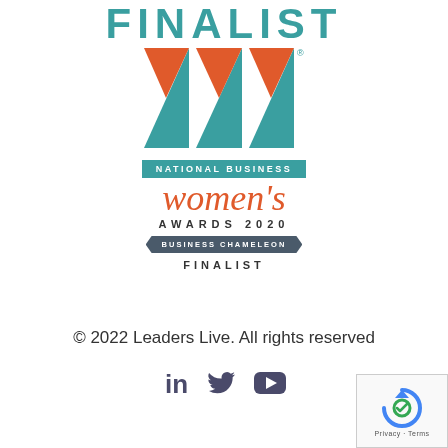FINALIST
[Figure (logo): National Business Women's Awards 2020 - Business Chameleon Finalist logo with teal triangles and orange script text]
© 2022 Leaders Live. All rights reserved
[Figure (illustration): Social media icons: LinkedIn, Twitter, YouTube]
[Figure (other): reCAPTCHA badge with Privacy and Terms text]